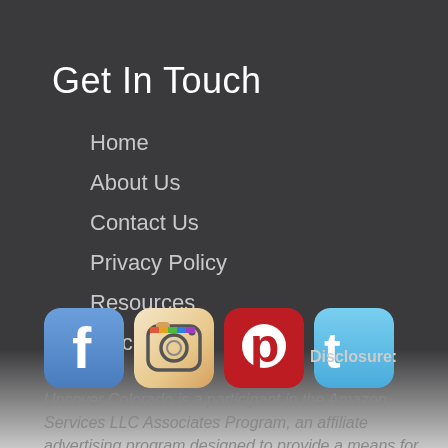Get In Touch
Home
About Us
Contact Us
Privacy Policy
Resources
Disclaimer
[Figure (logo): Social media icons row: Facebook, Instagram, Pinterest, Twitter]
Disclosure:
Uncover Colorado is a participant in the Amazon Services LLC Associates Program, an affiliate advertising program designed to provide a means for sites to earn advertising